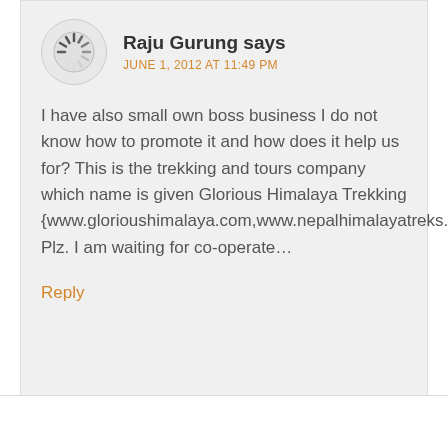Raju Gurung says
JUNE 1, 2012 AT 11:49 PM
I have also small own boss business I do not know how to promote it and how does it help us for? This is the trekking and tours company which name is given Glorious Himalaya Trekking {www.glorioushimalaya.com,www.nepalhimalayatreks.com}
Plz. I am waiting for co-operate…
Reply